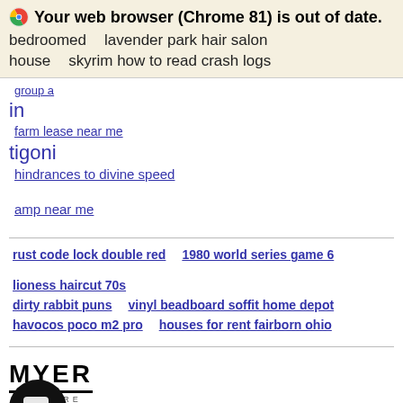Your web browser (Chrome 81) is out of date.
bedroomed house    lavender park hair salon    skyrim how to read crash logs
group a in
farm lease near me
tigoni
hindrances to divine speed
amp near me
rust code lock double red
1980 world series game 6
lioness haircut 70s
dirty rabbit puns
vinyl beadboard soffit home depot
havocos poco m2 pro
houses for rent fairborn ohio
[Figure (logo): MYER MY STORE logo]
[Figure (screenshot): Row of product image placeholders]
t 1999-2022 Myer Pty Ltd. GPO Box 2215, Melbourne VIC 3001.